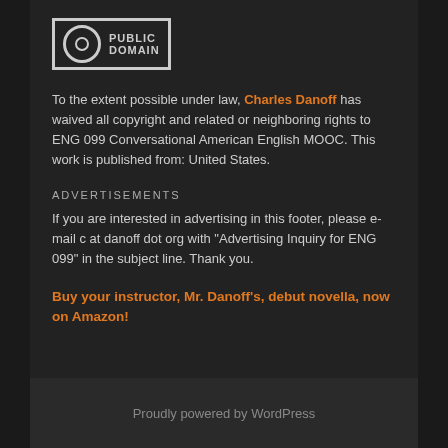[Figure (logo): Creative Commons Public Domain logo — circle with zero symbol and text PUBLIC DOMAIN]
To the extent possible under law, Charles Danoff has waived all copyright and related or neighboring rights to ENG 099 Conversational American English MOOC. This work is published from: United States.
ADVERTISEMENTS
If you are interested in advertising in this footer, please e-mail c at danoff dot org with "Advertising Inquiry for ENG 099" in the subject line. Thank you.
Buy your instructor, Mr. Danoff's, debut novella, now on Amazon!
Proudly powered by WordPress